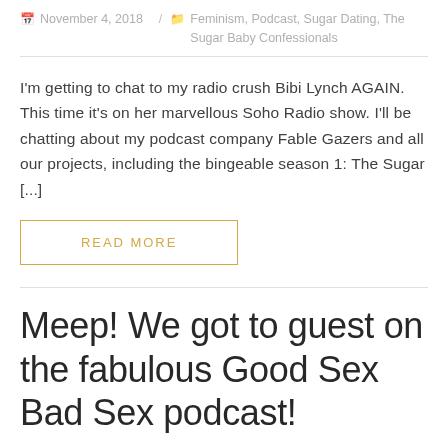November 4, 2018 / Feminism, Podcast, Sugar Dating, The Sugar Baby Confessionals
I'm getting to chat to my radio crush Bibi Lynch AGAIN. This time it's on her marvellous Soho Radio show. I'll be chatting about my podcast company Fable Gazers and all our projects, including the bingeable season 1: The Sugar [...]
READ MORE
Meep! We got to guest on the fabulous Good Sex Bad Sex podcast!